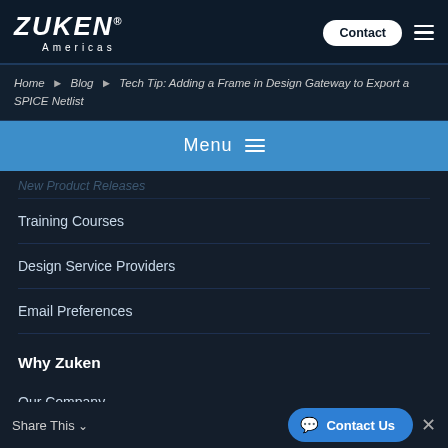Zuken Americas — Contact | Menu
Home › Blog › Tech Tip: Adding a Frame in Design Gateway to Export a SPICE Netlist
Menu ≡
Training Courses
Design Service Providers
Email Preferences
Why Zuken
Our Company
Our Process
Share This ˅
Contact Us